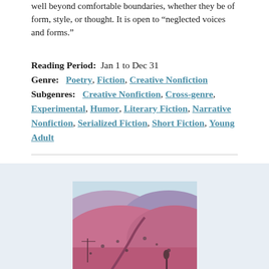well beyond comfortable boundaries, whether they be of form, style, or thought. It is open to “neglected voices and forms.”
Reading Period:  Jan 1 to Dec 31
Genre:  Poetry, Fiction, Creative Nonfiction
Subgenres:  Creative Nonfiction, Cross-genre, Experimental, Humor, Literary Fiction, Narrative Nonfiction, Serialized Fiction, Short Fiction, Young Adult
[Figure (photo): Aerial or elevated landscape photograph showing rolling hills with pink/magenta tinted terrain and scattered trees or vegetation, with a road or path visible.]